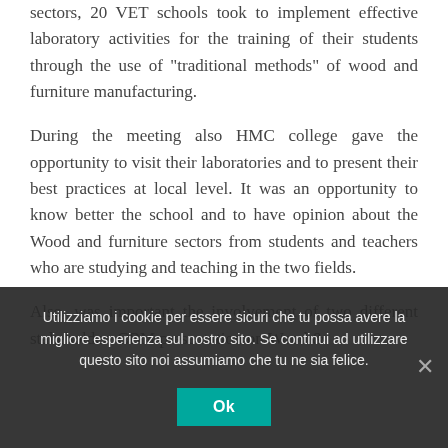sectors, 20 VET schools took to implement effective laboratory activities for the training of their students through the use of "traditional methods" of wood and furniture manufacturing.
During the meeting also HMC college gave the opportunity to visit their laboratories and to present their best practices at local level. It was an opportunity to know better the school and to have opinion about the Wood and furniture sectors from students and teachers who are studying and teaching in the two fields.
Also, was important the involvement of two different stakeholder: CBM presentation on Wood &
Utilizziamo i cookie per essere sicuri che tu possa avere la migliore esperienza sul nostro sito. Se continui ad utilizzare questo sito noi assumiamo che tu ne sia felice.